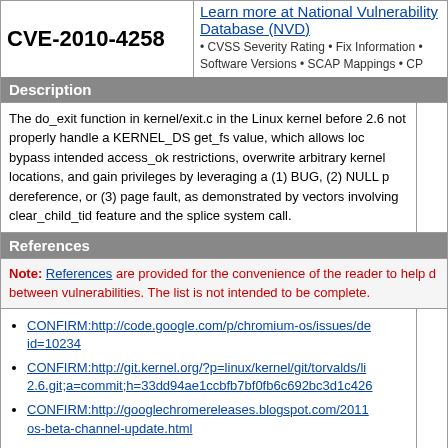CVE-2010-4258
Learn more at National Vulnerability Database (NVD) • CVSS Severity Rating • Fix Information • Software Versions • SCAP Mappings • CP
Description
The do_exit function in kernel/exit.c in the Linux kernel before 2.6 not properly handle a KERNEL_DS get_fs value, which allows loc bypass intended access_ok restrictions, overwrite arbitrary kernel locations, and gain privileges by leveraging a (1) BUG, (2) NULL p dereference, or (3) page fault, as demonstrated by vectors involving clear_child_tid feature and the splice system call.
References
Note: References are provided for the convenience of the reader to help between vulnerabilities. The list is not intended to be complete.
CONFIRM:http://code.google.com/p/chromium-os/issues/de id=10234
CONFIRM:http://git.kernel.org/?p=linux/kernel/git/torvalds/li 2.6.git;a=commit;h=33dd94ae1ccbfb7bf0fb6c692bc3d1c426
CONFIRM:http://googlechromereleases.blogspot.com/2011 os-beta-channel-update.html
CONFIRM:http://www.kernel.org/pub/linux/kernel/v2.6/Char 2.6.36.2
CONFIRM:https://bugzilla.redhat.com/show_bug.cgi?id=65